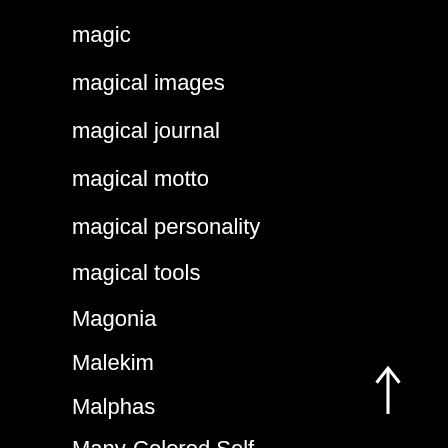magic
magical images
magical journal
magical motto
magical personality
magical tools
Magonia
Malekim
Malphas
Many-Colored Self
Marcus Matowhero Lloyd